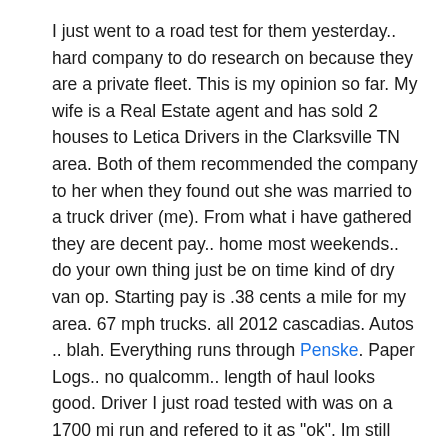I just went to a road test for them yesterday.. hard company to do research on because they are a private fleet. This is my opinion so far. My wife is a Real Estate agent and has sold 2 houses to Letica Drivers in the Clarksville TN area. Both of them recommended the company to her when they found out she was married to a truck driver (me). From what i have gathered they are decent pay.. home most weekends.. do your own thing just be on time kind of dry van op. Starting pay is .38 cents a mile for my area. 67 mph trucks. all 2012 cascadias. Autos .. blah. Everything runs through Penske. Paper Logs.. no qualcomm.. length of haul looks good. Driver I just road tested with was on a 1700 mi run and refered to it as "ok". Im still deciding if I am going to hire on with them. I am pretty happy where I am at but the more frequent hometime and less micro managing is appealing. Hope this helps a little.. I know it was nearly impossible for me to find anything about them online. I think their fleet is like 100 trucks.